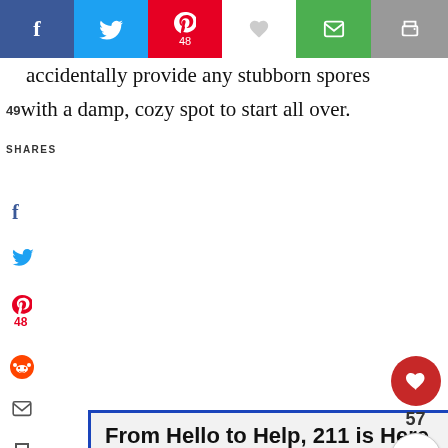f | Twitter | Pinterest 48 | heart | email | print
accidentally provide any stubborn spores 49with a damp, cozy spot to start all over.
SHARES
[Figure (screenshot): Left sidebar with social sharing icons: Facebook (f), Twitter bird, Pinterest (p) with count 48, Reddit alien, email envelope, printer icon]
From Hello to Help, 211 is Here
WHAT'S NEXT → There's A[n Unwelcome]...
[Figure (other): Pink/magenta banner bar at bottom]
[Figure (other): Floating right panel with red heart button, share count 57, and share button]